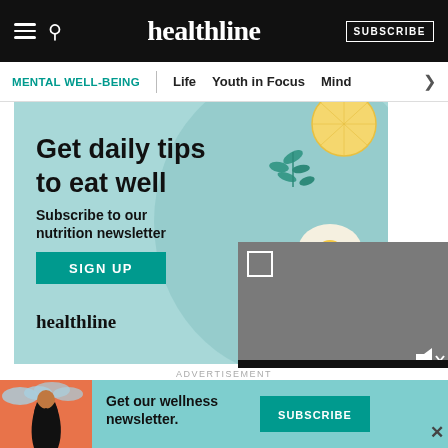healthline | SUBSCRIBE
MENTAL WELL-BEING | Life | Youth in Focus | Mind >
[Figure (illustration): Healthline nutrition newsletter advertisement banner with teal/light blue background, food illustrations (tomatoes, egg, lemon, greens). Text: 'Get daily tips to eat well. Subscribe to our nutrition newsletter. SIGN UP. healthline']
[Figure (screenshot): Gray video player overlay in bottom right of ad, with expand icon and mute icon, plus black bar at bottom]
3. Focus on one thi...
[Figure (illustration): Bottom advertisement banner: teal background with woman illustration on left, text 'Get our wellness newsletter.' and teal SUBSCRIBE button on right]